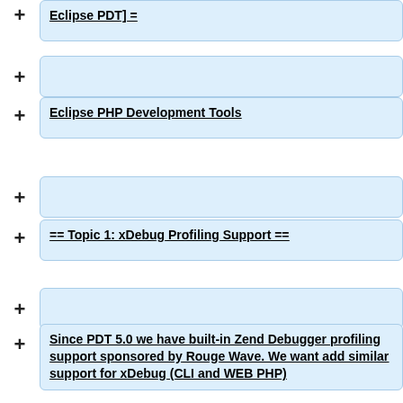Eclipse PDT] =
Eclipse PHP Development Tools
== Topic 1: xDebug Profiling Support ==
Since PDT 5.0 we have built-in Zend Debugger profiling support sponsored by Rouge Wave. We want add similar support for xDebug (CLI and WEB PHP)